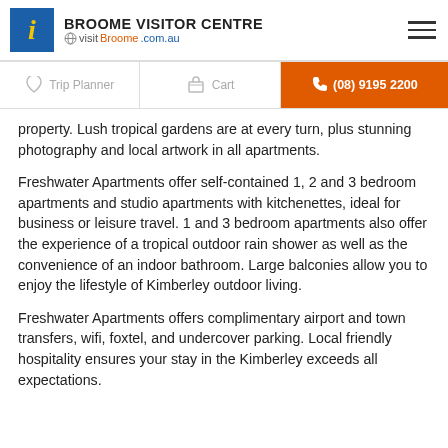BROOME VISITOR CENTRE visitBroome.com.au
Trip Planner   Cart   (08) 9195 2200
property. Lush tropical gardens are at every turn, plus stunning photography and local artwork in all apartments.
Freshwater Apartments offer self-contained 1, 2 and 3 bedroom apartments and studio apartments with kitchenettes, ideal for business or leisure travel. 1 and 3 bedroom apartments also offer the experience of a tropical outdoor rain shower as well as the convenience of an indoor bathroom. Large balconies allow you to enjoy the lifestyle of Kimberley outdoor living.
Freshwater Apartments offers complimentary airport and town transfers, wifi, foxtel, and undercover parking. Local friendly hospitality ensures your stay in the Kimberley exceeds all expectations.